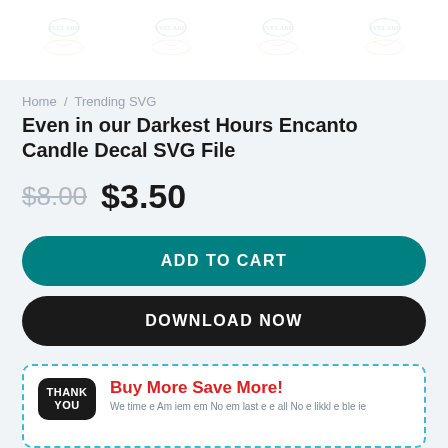[Figure (illustration): Four repeated watermark logos of 'SVELARD' brand arranged horizontally on a white strip at the top of the page]
Home / Trending SVG
Even in our Darkest Hours Encanto Candle Decal SVG File
$8.00  $3.50
ADD TO CART
DOWNLOAD NOW
THANK YOU
Buy More Save More!
We time e Am iem em No em last e e all No e likkl e ble ie